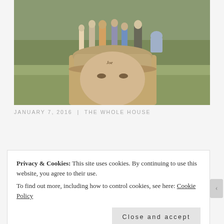[Figure (photo): Outdoor photo showing a group of people standing in a grassy field in the background, and a man wearing a tan baseball cap in the foreground taking a selfie.]
JANUARY 7, 2016  |  THE WHOLE HOUSE
Privacy & Cookies: This site uses cookies. By continuing to use this website, you agree to their use.
To find out more, including how to control cookies, see here: Cookie Policy
Close and accept